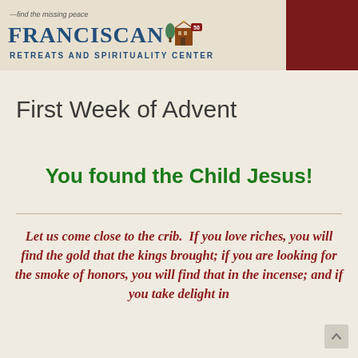[Figure (logo): Franciscan Retreats and Spirituality Center logo with tagline 'find the missing peace', building illustration, and 50th anniversary badge. Red square block on the right side of the header.]
First Week of Advent
You found the Child Jesus!
Let us come close to the crib.  If you love riches, you will find the gold that the kings brought; if you are looking for the smoke of honors, you will find that in the incense; and if you take delight in